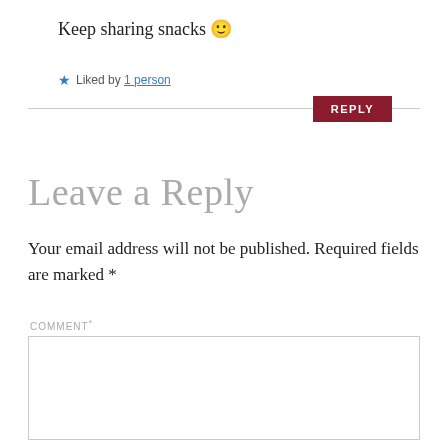Keep sharing snacks 🙂
★ Liked by 1 person
REPLY
Leave a Reply
Your email address will not be published. Required fields are marked *
COMMENT*